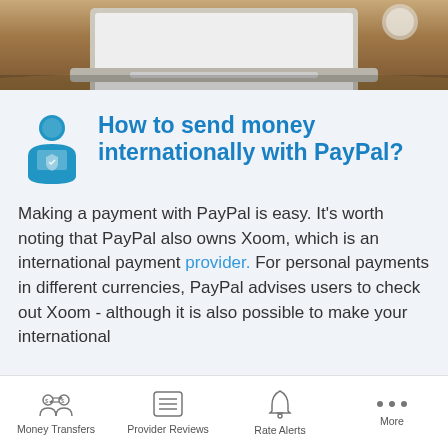[Figure (photo): Laptop on a wooden desk, photo strip at top of page]
How to send money internationally with PayPal?
Making a payment with PayPal is easy. It's worth noting that PayPal also owns Xoom, which is an international payment provider. For personal payments in different currencies, PayPal advises users to check out Xoom - although it is also possible to make your international
Money Transfers   Provider Reviews   Rate Alerts   More